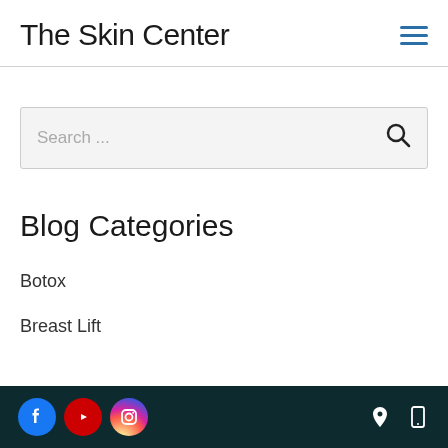The Skin Center
[Figure (screenshot): Search input box with placeholder text 'Search ...' and a magnifying glass icon on the right]
Blog Categories
Botox
Breast Lift
Social icons: Facebook, YouTube, Instagram; Location and mobile icons